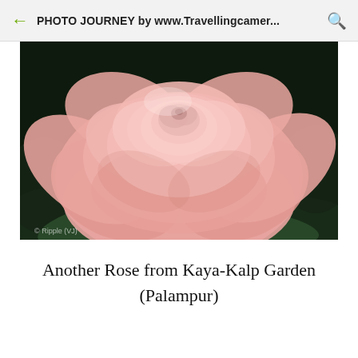PHOTO JOURNEY by www.Travellingcamer...
[Figure (photo): Close-up photograph of a pink rose with dark foliage background, watermark reading '© Ripple (VJ)']
Another Rose from Kaya-Kalp Garden (Palampur)